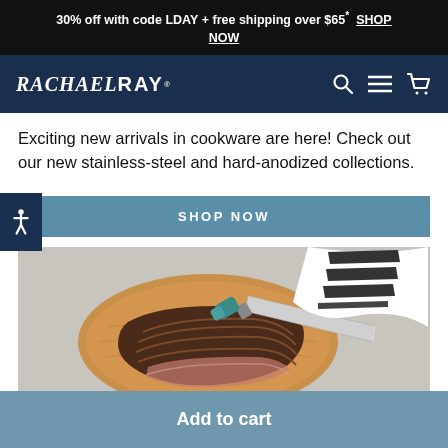30% off with code LDAY + free shipping over $65* SHOP NOW
[Figure (logo): Rachael Ray brand logo in white text on dark navy background with navigation icons (search, menu, cart)]
Exciting new arrivals in cookware are here! Check out our new stainless-steel and hard-anodized collections.
SHOP NOW
[Figure (photo): Overhead photo of sliced grilled steak on a round wooden cutting board, with a chef's knife with teal handle and a black-and-white striped kitchen towel on a gray surface.]
Add to cart